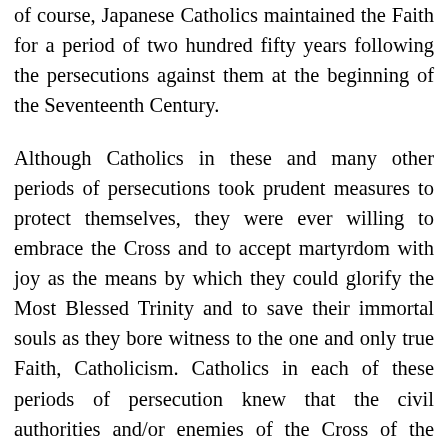of course, Japanese Catholics maintained the Faith for a period of two hundred fifty years following the persecutions against them at the beginning of the Seventeenth Century.

Although Catholics in these and many other periods of persecutions took prudent measures to protect themselves, they were ever willing to embrace the Cross and to accept martyrdom with joy as the means by which they could glorify the Most Blessed Trinity and to save their immortal souls as they bore witness to the one and only true Faith, Catholicism. Catholics in each of these periods of persecution knew that the civil authorities and/or enemies of the Cross of the Divine Redeemer in various false religions employed sophisticated networks of spies to try to catch them in a "forbidden" act of worship or some